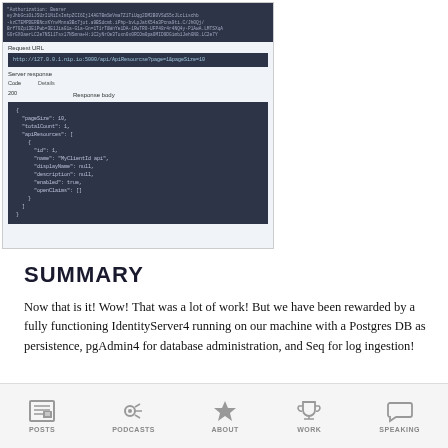[Figure (screenshot): A Swagger UI screenshot showing an API request with Authorization Bearer token header, request URL http://127.0.0.1 with path, server response Code: Details, 200, and Response Body containing JSON with pageSize, totalCount, apiResources array with id, name MyClientId api, displayName null, description null, enabled true, openClaims []]
SUMMARY
Now that is it! Wow! That was a lot of work! But we have been rewarded by a fully functioning IdentityServer4 running on our machine with a Postgres DB as persistence, pgAdmin4 for database administration, and Seq for log ingestion!
One thing I didn't do for demonstration purposes is do any sort
POSTS  PODCASTS  ABOUT  WORK  SPEAKING